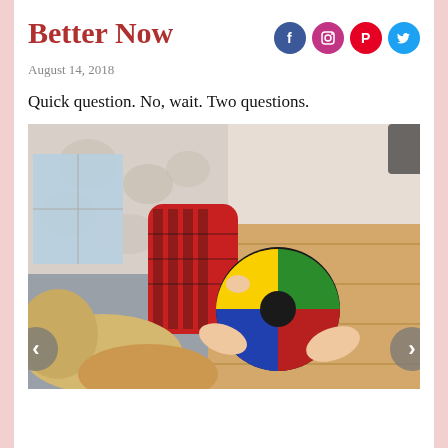Better Now
August 14, 2018
Quick question. No, wait. Two questions.
[Figure (photo): Person lying on couch wearing red plaid pants/slippers, holding a Simon electronic memory game. Visible in background: floral curtain, hardwood floor, window with natural light.]